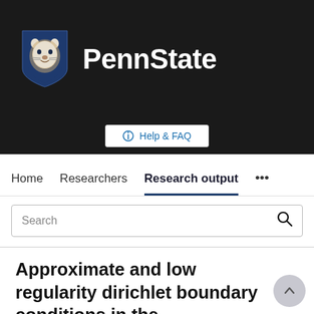[Figure (logo): Penn State university header with lion shield logo and 'PennState' wordmark on dark background]
Help & FAQ
Home   Researchers   Research output   ...
Search
Approximate and low regularity dirichlet boundary conditions in the generalized finite element method